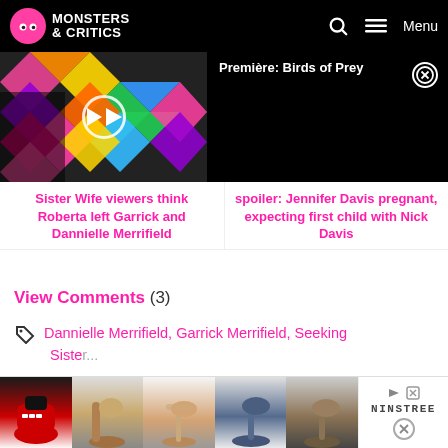Monsters & Critics
[Figure (screenshot): Video thumbnail showing Première: Birds ... with colorful background and play button, alongside black panel with Première: Birds of Prey title and close button]
Sister Wife viewers think Roberta left Garrick and Dannielle Merrifield
spoiler: Jennifer Davis pregnant, expecting first child with Nick Davis
View Comments (3)
Dannielle Merrifield, Garrick Merrifield, Seeking Sister Wife
[Figure (photo): Advertisement banner showing five shoe images and Ninstree logo with close button]